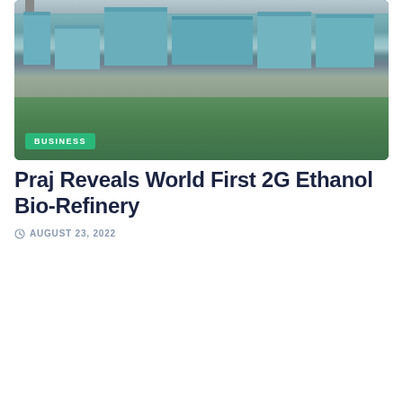[Figure (photo): Aerial view of an industrial bio-refinery facility with large blue-roofed buildings and industrial equipment, with green agricultural fields in the foreground. A 'BUSINESS' category badge overlaid at bottom-left.]
Praj Reveals World First 2G Ethanol Bio-Refinery
AUGUST 23, 2022